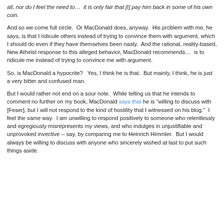all, nor do I feel the need to…  it is only fair that [I] pay him back in some of his own coin.
And so we come full circle.  Or MacDonald does, anyway.  His problem with me, he says, is that I ridicule others instead of trying to convince them with argument, which I should do even if they have themselves been nasty.  And the rational, reality-based, New Atheist response to this alleged behavior, MacDonald recommends…  is to ridicule me instead of trying to convince me with argument.
So, is MacDonald a hypocrite?   Yes, I think he is that.  But mainly, I think, he is just a very bitter and confused man.
But I would rather not end on a sour note.  While telling us that he intends to comment no further on my book, MacDonald says that he is "willing to discuss with [Feser], but I will not respond to the kind of hostility that I witnessed on his blog."  I feel the same way.  I am unwilling to respond positively to someone who relentlessly and egregiously misrepresents my views, and who indulges in unjustifiable and unprovoked invective -- say, by comparing me to Heinrich Himmler.  But I would always be willing to discuss with anyone who sincerely wished at last to put such things aside.